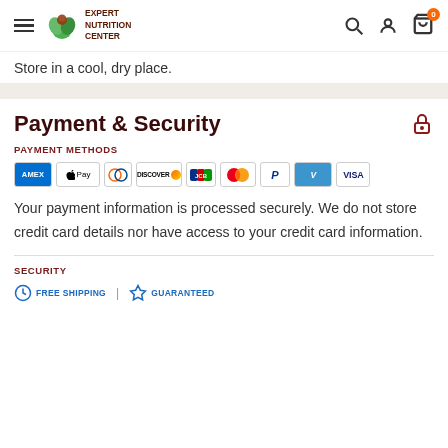Expert Nutrition Center — navigation header with hamburger menu, logo, search, account, and cart icons
Store in a cool, dry place.
Payment & Security
PAYMENT METHODS
[Figure (logo): Payment method icons: American Express, Apple Pay, Diners Club, Discover, JCB, Mastercard, PayPal, Venmo, Visa]
Your payment information is processed securely. We do not store credit card details nor have access to your credit card information.
SECURITY
FREE SHIPPING | GUARANTEED